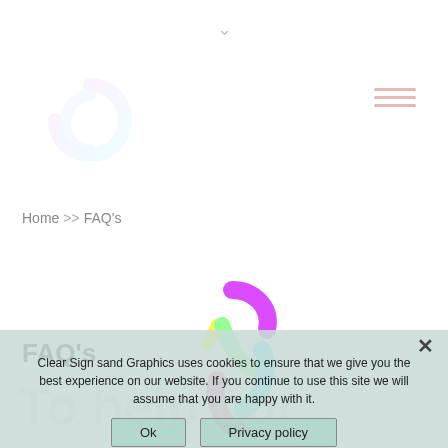[Figure (logo): Small faded colorful spiral logo in top-left corner]
[Figure (other): Hamburger menu icon (three horizontal red lines) in top-right corner]
Home >> FAQ's
[Figure (logo): Colorful spinning logo with purple, cyan, green, yellow, and magenta arc shapes in the center of the page]
FAQ's
To help our customers here are a few frequently asked
Clear Sign sand Graphics uses cookies to ensure that we give you the best experience on our website. If you continue to use this site we will assume that you are happy with it.
Ok
Privacy policy